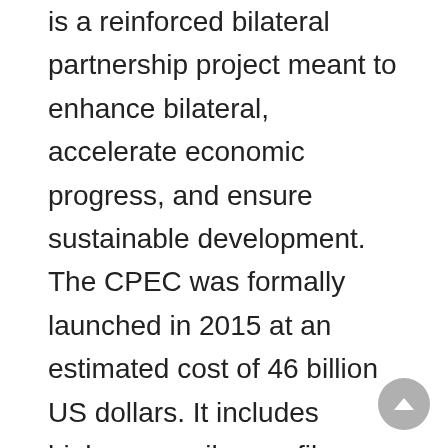is a reinforced bilateral partnership project meant to enhance bilateral, accelerate economic progress, and ensure sustainable development. The CPEC was formally launched in 2015 at an estimated cost of 46 billion US dollars. It includes highways, railways, fiber optic networks, energy distribution networks, ports, and economic zones. The multibillion dollar project can connect the two countries through the disputed region of Kashmir and the strategically located areas of Afghanistan. The China Pakistan Economic Corridor is a flagship project of Chinese President Xi Jinping and part of the Belt and Road initiative. The CPEC paves the way for further trade ties between China and Pakistan by modernizing pertinent energy and